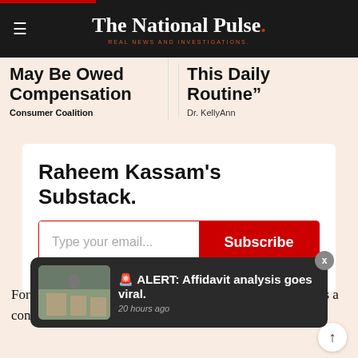The National Pulse. REAL NEWS AND INVESTIGATIONS.
May Be Owed Compensation
Consumer Coalition
This Daily Routine"
Dr. KellyAnn
Raheem Kassam's Substack.
Type your email...
Subscribe
🚨 ALERT: Affidavit analysis goes viral.
20 hours ago
For Bannon, dis the bureaucrat struggle and 2020 signifies a continuation of 20... with China at the centerpiece.